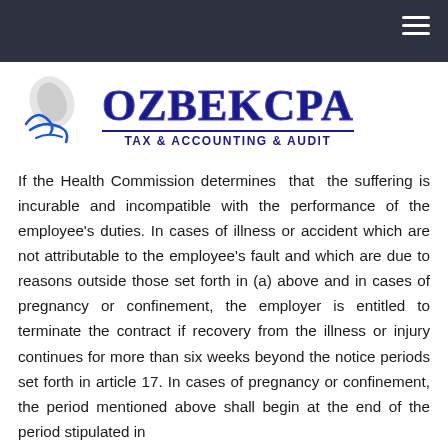OZBEKCPA TAX & ACCOUNTING & AUDIT
[Figure (logo): OzbekCPA logo with handwritten signature icon on the left and stylized OZBEKCPA text with TAX & ACCOUNTING & AUDIT tagline]
If the Health Commission determines that the suffering is incurable and incompatible with the performance of the employee’s duties. In cases of illness or accident which are not attributable to the employee’s fault and which are due to reasons outside those set forth in (a) above and in cases of pregnancy or confinement, the employer is entitled to terminate the contract if recovery from the illness or injury continues for more than six weeks beyond the notice periods set forth in article 17. In cases of pregnancy or confinement, the period mentioned above shall begin at the end of the period stipulated in